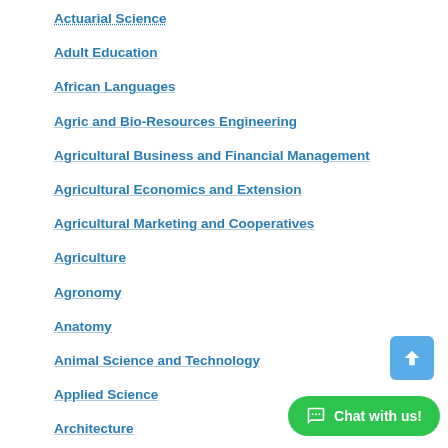Actuarial Science
Adult Education
African Languages
Agric and Bio-Resources Engineering
Agricultural Business and Financial Management
Agricultural Economics and Extension
Agricultural Marketing and Cooperatives
Agriculture
Agronomy
Anatomy
Animal Science and Technology
Applied Science
Architecture